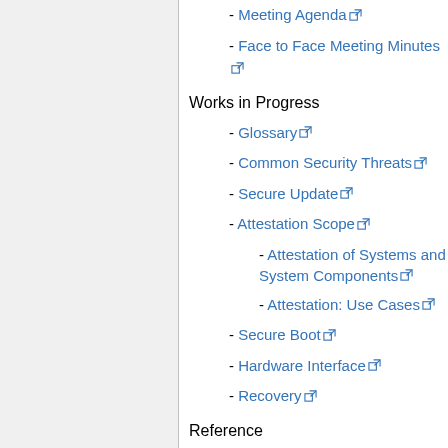- Meeting Agenda [external link]
- Face to Face Meeting Minutes [external link]
Works in Progress
- Glossary [external link]
- Common Security Threats [external link]
- Secure Update [external link]
- Attestation Scope [external link]
- Attestation of Systems and System Components [external link]
- Attestation: Use Cases [external link]
- Secure Boot [external link]
- Hardware Interface [external link]
- Recovery [external link]
Reference
- Certificate Templates for DICE Attestation [external link] (Intel) Presented 2019-